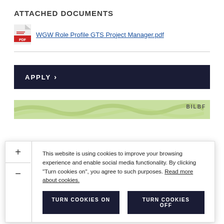ATTACHED DOCUMENTS
WGW Role Profile GTS Project Manager.pdf
APPLY >
[Figure (screenshot): Map strip background with green terrain]
This website is using cookies to improve your browsing experience and enable social media functionality. By clicking “Turn cookies on”, you agree to such purposes. Read more about cookies.
TURN COOKIES ON
TURN COOKIES OFF